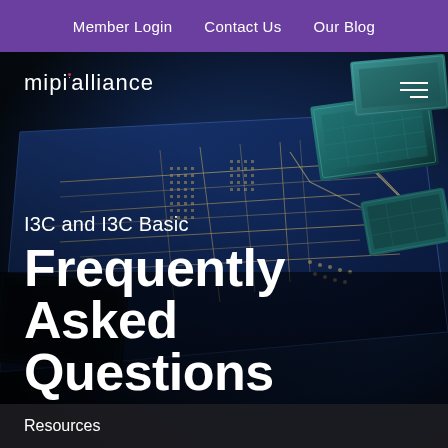Member Login   Contact Us   Our Blog
[Figure (photo): Close-up photo of a dark blue circuit board with gold circuit traces, chip components, and teal-colored processor chips/modules arranged in an angled perspective view against a dark background.]
mipi alliance
I3C and I3C Basic
Frequently Asked Questions
Resources